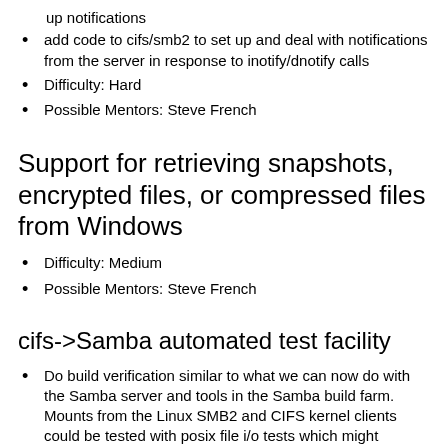up notifications
add code to cifs/smb2 to set up and deal with notifications from the server in response to inotify/dnotify calls
Difficulty: Hard
Possible Mentors: Steve French
Support for retrieving snapshots, encrypted files, or compressed files from Windows
Difficulty: Medium
Possible Mentors: Steve French
cifs->Samba automated test facility
Do build verification similar to what we can now do with the Samba server and tools in the Samba build farm. Mounts from the Linux SMB2 and CIFS kernel clients could be tested with posix file i/o tests which might include modified versions of the "connectathon" and xfstest test suites and others. The machine might identify addressing with some